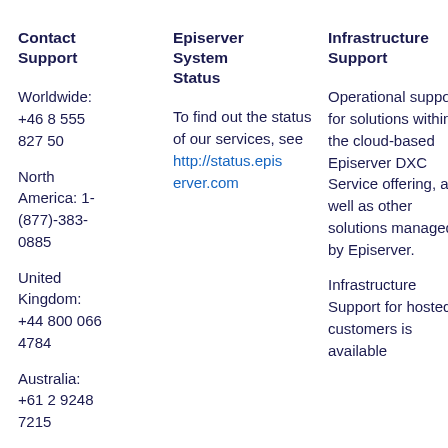Contact Support
Episerver System Status
Infrastructure Support
Application Support
Worldwide: +46 8 555 827 50

North America: 1-(877)-383-0885

United Kingdom: +44 800 066 4784

Australia: +61 2 9248 7215
To find out the status of our services, see http://status.episerver.com
Operational support for solutions within the cloud-based Episerver DXC Service offering, as well as other solutions managed by Episerver.

Infrastructure Support for hosted customers is available
Support provides general product support for eligible customers and partners.

Application Support is available Monday-Friday per region.